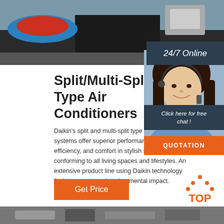[Figure (photo): Close-up photo of blue industrial scoop/equipment part on dark metallic block background]
[Figure (photo): Customer service agent woman wearing headset smiling, with 24/7 Online label, Click here for free chat text, and QUOTATION orange button overlay]
Split/Multi-Split Type Air Conditioners
Daikin's split and multi-split type air conditioning systems offer superior performance, energy-efficiency, and comfort in stylish solutions conforming to all living spaces and lifestyles. An extensive product line using Daikin technology for lower costs and environmental impact.
[Figure (other): Get Price orange button]
[Figure (logo): TOP logo with orange dotted triangle above orange text TOP]
[Figure (photo): Bottom strip photo of air conditioning equipment]